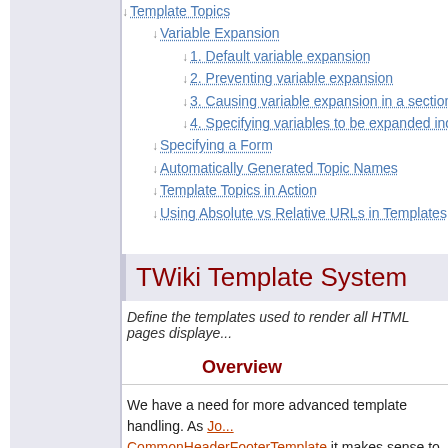↓ Template Topics
↓ Variable Expansion
↓ 1. Default variable expansion
↓ 2. Preventing variable expansion
↓ 3. Causing variable expansion in a section
↓ 4. Specifying variables to be expanded indiv...
↓ Specifying a Form
↓ Automatically Generated Topic Names
↓ Template Topics in Action
↓ Using Absolute vs Relative URLs in Templates
TWiki Template System
Define the templates used to render all HTML pages displaye...
Overview
We have a need for more advanced template handling. As Jo... CommonHeaderFooterTemplate it makes sense to separate... file so that it can be easily altered (or even overloaded by a s... messages are all identical except for a few variables like hea...